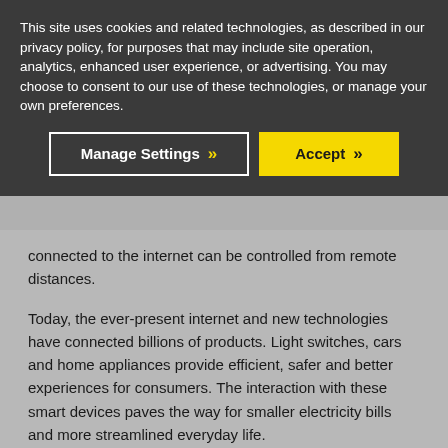This site uses cookies and related technologies, as described in our privacy policy, for purposes that may include site operation, analytics, enhanced user experience, or advertising. You may choose to consent to our use of these technologies, or manage your own preferences.
Manage Settings >>
Accept >>
connected to the internet can be controlled from remote distances.
Today, the ever-present internet and new technologies have connected billions of products. Light switches, cars and home appliances provide efficient, safer and better experiences for consumers. The interaction with these smart devices paves the way for smaller electricity bills and more streamlined everyday life.
IIoT – Industrial Internet of Things
IIoT refers to the branch of IoT that is specifically engaged with